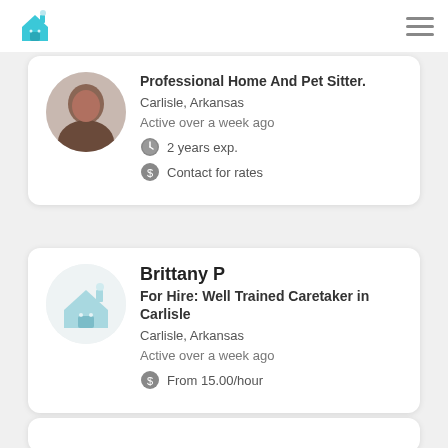Home And Pet Sitter logo / hamburger menu
Professional Home And Pet Sitter.
Carlisle, Arkansas
Active over a week ago
2 years exp.
Contact for rates
Brittany P
For Hire: Well Trained Caretaker in Carlisle
Carlisle, Arkansas
Active over a week ago
From 15.00/hour